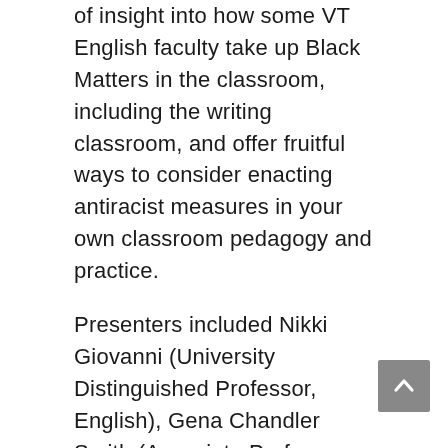of insight into how some VT English faculty take up Black Matters in the classroom, including the writing classroom, and offer fruitful ways to consider enacting antiracist measures in your own classroom pedagogy and practice.
Presenters included Nikki Giovanni (University Distinguished Professor, English), Gena Chandler Smith (Associate Professor, English), S. Moon Cassinelli (Assistant Professor, English), Katie Carmichael (Associate Professor, English), Alexa Garvoille (3rd year MFA student in poetry), L. Lamar Wilson (Assistant Professor, Creative Writing, Wake Forest University), Sheila Carter-Tod (Associate Professor, English), and Jennifer Sano-Franchini